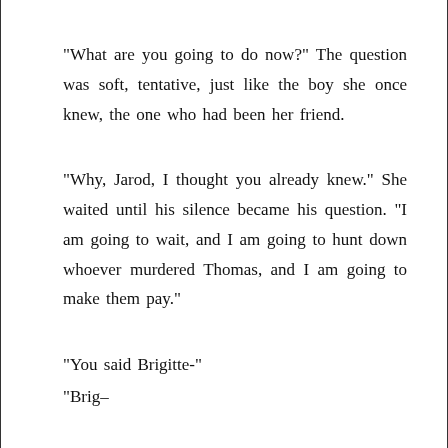"What are you going to do now?" The question was soft, tentative, just like the boy she once knew, the one who had been her friend.
"Why, Jarod, I thought you already knew." She waited until his silence became his question. "I am going to wait, and I am going to hunt down whoever murdered Thomas, and I am going to make them pay."
"You said Brigitte-"
"Brig–"